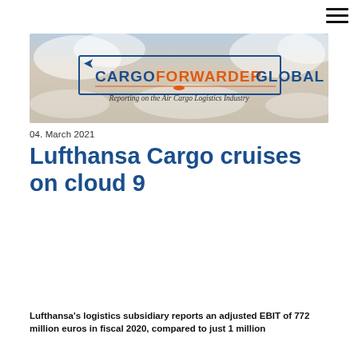[Figure (logo): Cargo Forwarder Global banner logo on a sky/clouds background. Text reads: CARGO FORWARDER GLOBAL - Reporting on the Air Cargo Logistics Industry]
04. March 2021
Lufthansa Cargo cruises on cloud 9
Lufthansa's logistics subsidiary reports an adjusted EBIT of 772 million euros in fiscal 2020, compared to just 1 million